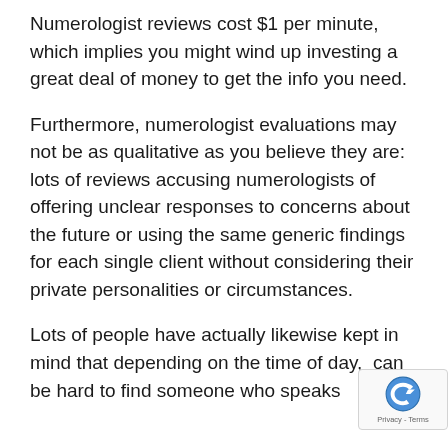Numerologist reviews cost $1 per minute, which implies you might wind up investing a great deal of money to get the info you need.
Furthermore, numerologist evaluations may not be as qualitative as you believe they are: lots of reviews accusing numerologists of offering unclear responses to concerns about the future or using the same generic findings for each single client without considering their private personalities or circumstances.
Lots of people have actually likewise kept in mind that depending on the time of day, it can be hard to find someone who speaks English fluently, since many of them that...